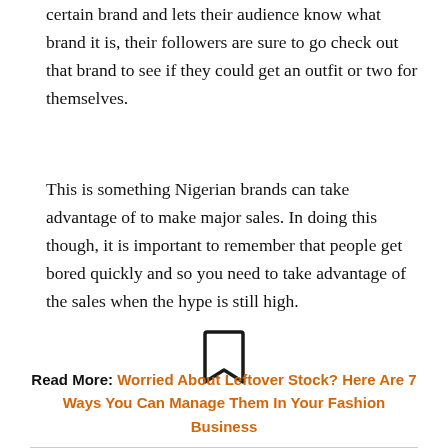certain brand and lets their audience know what brand it is, their followers are sure to go check out that brand to see if they could get an outfit or two for themselves.
This is something Nigerian brands can take advantage of to make major sales. In doing this though, it is important to remember that people get bored quickly and so you need to take advantage of the sales when the hype is still high.
[Figure (illustration): Bookmark icon — a simple outlined bookmark/ribbon shape centered on the page]
Read More: Worried About Leftover Stock? Here Are 7 Ways You Can Manage Them In Your Fashion Business